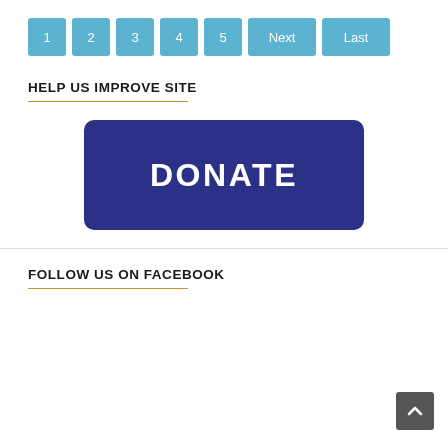1 2 3 4 5 Next Last
HELP US IMPROVE SITE
[Figure (other): Dark blue DONATE button with rounded corners and white bold uppercase text reading DONATE]
FOLLOW US ON FACEBOOK